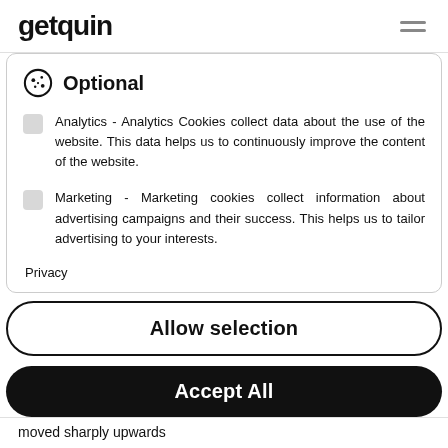getquin
Optional
Analytics - Analytics Cookies collect data about the use of the website. This data helps us to continuously improve the content of the website.
Marketing - Marketing cookies collect information about advertising campaigns and their success. This helps us to tailor advertising to your interests.
Privacy
Allow selection
Accept All
moved sharply upwards